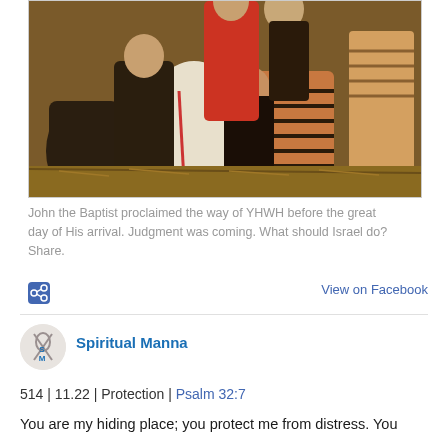[Figure (photo): Detail of a Flemish Renaissance painting showing a crowd of figures in medieval/Renaissance dress, gathering outdoors. Figures wear robes, cloaks, and head coverings in earth tones, white, and striped patterns. Hay or straw is visible on the ground.]
John the Baptist proclaimed the way of YHWH before the great day of His arrival. Judgment was coming. What should Israel do? Share.
View on Facebook
Spiritual Manna
514 | 11.22 | Protection | Psalm 32:7
You are my hiding place; you protect me from distress. You